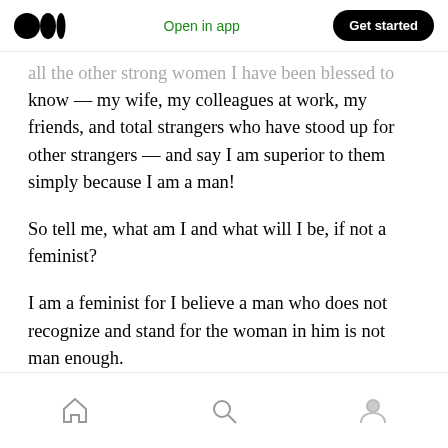[Figure (screenshot): Medium app top navigation bar with logo, Open in app link, and Get started button]
all the other strong women I have been blessed to know — my wife, my colleagues at work, my friends, and total strangers who have stood up for other strangers — and say I am superior to them simply because I am a man!
So tell me, what am I and what will I be, if not a feminist?
I am a feminist for I believe a man who does not recognize and stand for the woman in him is not man enough.
[Figure (screenshot): Mobile app bottom navigation bar with home, search, and profile icons]